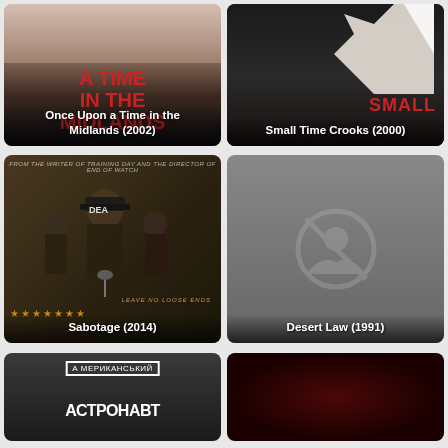[Figure (photo): Movie poster grid showing 6 movie cards: Once Upon a Time in the Midlands (2002), Small Time Crooks (2000), Sabotage (2014), Desert Law (1991), and two partial cards at bottom]
Once Upon a Time in the Midlands (2002)
Small Time Crooks (2000)
Sabotage (2014)
Desert Law (1991)
АМЕРИКАНСЬКИЙ АСТРОНАВТ (partial, bottom left)
Partial red movie card (bottom right)